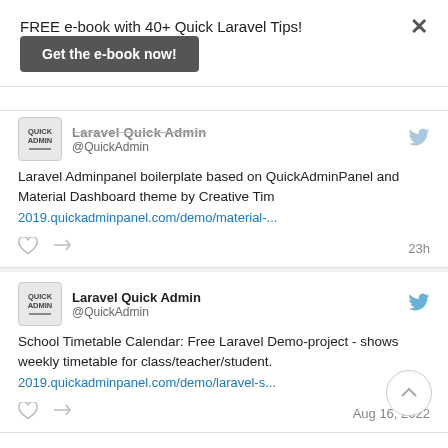FREE e-book with 40+ Quick Laravel Tips!
Get the e-book now!
Laravel Quick Admin @QuickAdmin — Laravel Adminpanel boilerplate based on QuickAdminPanel and Material Dashboard theme by Creative Tim 2019.quickadminpanel.com/demo/material-... 23h
Laravel Quick Admin @QuickAdmin — School Timetable Calendar: Free Laravel Demo-project - shows weekly timetable for class/teacher/student. 2019.quickadminpanel.com/demo/laravel-s... Aug 16, 2022